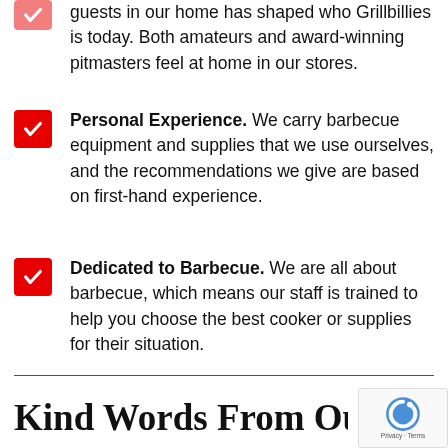guests in our home has shaped who Grillbillies is today. Both amateurs and award-winning pitmasters feel at home in our stores.
Personal Experience. We carry barbecue equipment and supplies that we use ourselves, and the recommendations we give are based on first-hand experience.
Dedicated to Barbecue. We are all about barbecue, which means our staff is trained to help you choose the best cooker or supplies for their situation.
Kind Words From Ou...